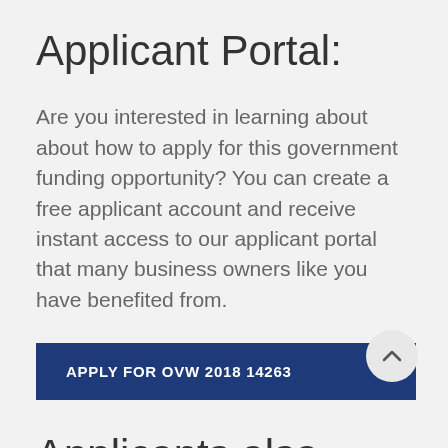Applicant Portal:
Are you interested in learning about about how to apply for this government funding opportunity? You can create a free applicant account and receive instant access to our applicant portal that many business owners like you have benefited from.
[Figure (other): Blue button with white bold text reading APPLY FOR OVW 2018 14263]
Applicants also applied